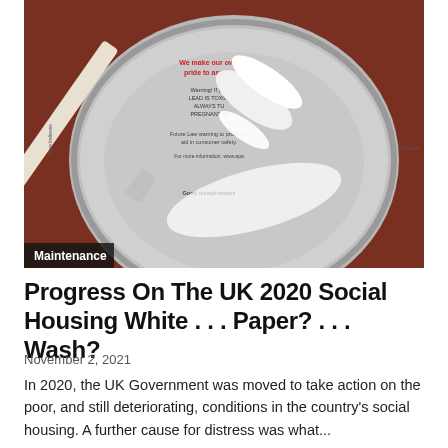[Figure (photo): Photograph of an open paint tin with white paint and a paint brush resting on top, viewed from above on a dark red surface. The tin lid shows warning labels. A 'Maintenance' category label appears at the bottom left of the image.]
Progress On The UK 2020 Social Housing White . . . Paper? . . . Wash?
November 2, 2021
In 2020, the UK Government was moved to take action on the poor, and still deteriorating, conditions in the country's social housing. A further cause for distress was what...